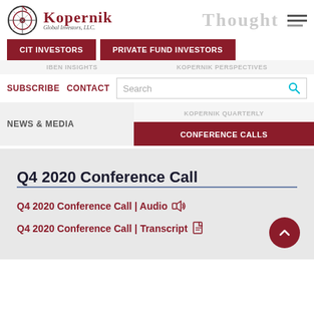Kopernik Global Investors, LLC — Thought
CIT INVESTORS
PRIVATE FUND INVESTORS
IBEN INSIGHTS
KOPERNIK PERSPECTIVES
SUBSCRIBE   CONTACT
NEWS & MEDIA
KOPERNIK QUARTERLY
CONFERENCE CALLS
Q4 2020 Conference Call
Q4 2020 Conference Call | Audio 🔊
Q4 2020 Conference Call | Transcript 📄